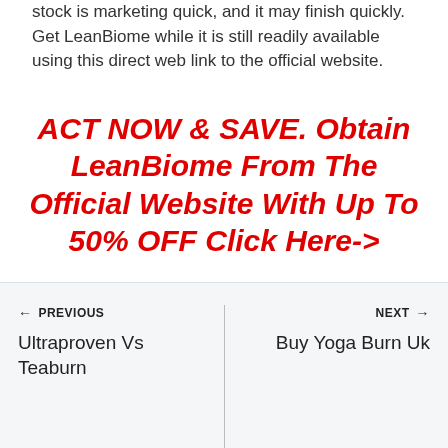stock is marketing quick, and it may finish quickly. Get LeanBiome while it is still readily available using this direct web link to the official website.
ACT NOW & SAVE. Obtain LeanBiome From The Official Website With Up To 50% OFF Click Here->
← PREVIOUS
Ultraproven Vs Teaburn
NEXT →
Buy Yoga Burn Uk